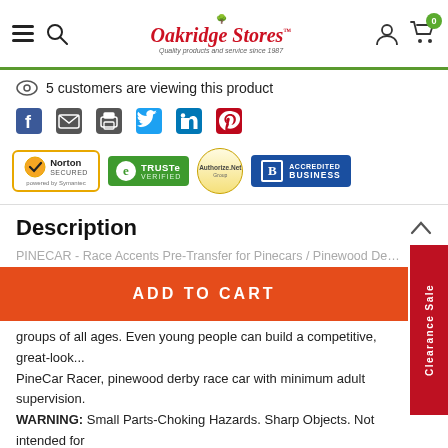Oakridge Stores — Quality products and service since 1987
5 customers are viewing this product
[Figure (infographic): Social share icons: Facebook, Email, Print, Twitter, LinkedIn, Pinterest]
[Figure (infographic): Trust badges: Norton Secured powered by Symantec, TRUSTe Verified, Authorize.Net, BBB Accredited Business]
Description
PINECAR - Race Accents Pre-Transfer for Pinecars / Pinewood Derby Ca...
groups of all ages. Even young people can build a competitive, great-look... PineCar Racer, pinewood derby race car with minimum adult supervision. WARNING: Small Parts-Choking Hazards. Sharp Objects. Not intended for children ages 3 and younger. Not intended for use by children, except